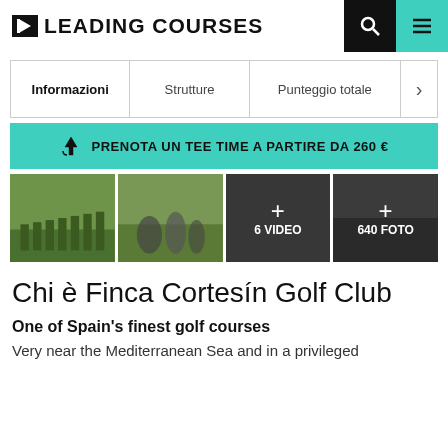LEADING COURSES
Informazioni | Strutture | Punteggio totale
PRENOTA UN TEE TIME A PARTIRE DA 260 €
[Figure (photo): Four image gallery: golf course driving range, golfers on course, video overlay (+6 VIDEO), photo overlay (+640 FOTO)]
Chi è Finca Cortesín Golf Club
One of Spain's finest golf courses
Very near the Mediterranean Sea and in a privileged